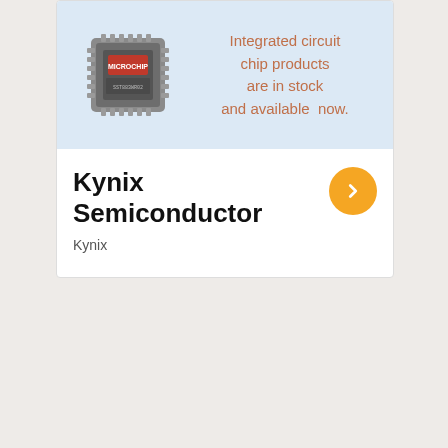[Figure (illustration): Advertisement banner with a Microchip integrated circuit chip image on a light blue background. Text reads: Integrated circuit chip products are in stock and available now.]
Kynix Semiconductor
Kynix